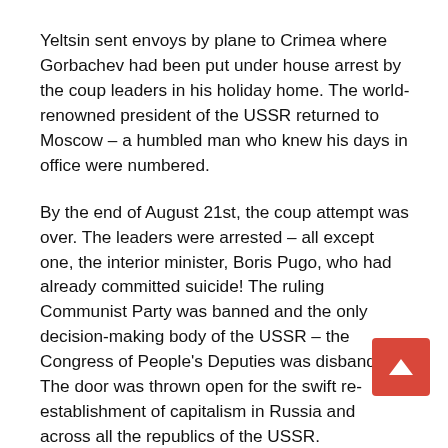Yeltsin sent envoys by plane to Crimea where Gorbachev had been put under house arrest by the coup leaders in his holiday home. The world-renowned president of the USSR returned to Moscow – a humbled man who knew his days in office were numbered.
By the end of August 21st, the coup attempt was over. The leaders were arrested – all except one, the interior minister, Boris Pugo, who had already committed suicide! The ruling Communist Party was banned and the only decision-making body of the USSR – the Congress of People's Deputies was disbanded. The door was thrown open for the swift re-establishment of capitalism in Russia and across all the republics of the USSR.
By 25 December 1991, Gorbachev was announcing his resignation and the final dissolution of the 'Soviet Union'. He was accepting the reality that most republics had already declared independence – the Baltic States before the coup and the rest in quick succession in the following four months.